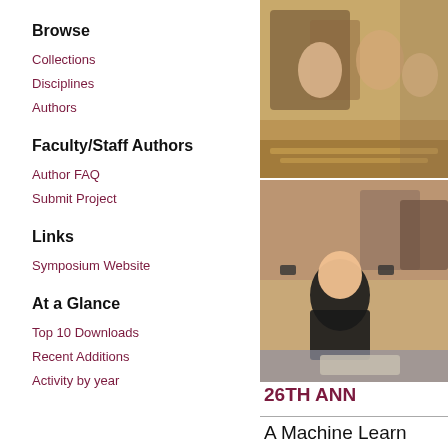Browse
Collections
Disciplines
Authors
Faculty/Staff Authors
Author FAQ
Submit Project
Links
Symposium Website
At a Glance
Top 10 Downloads
Recent Additions
Activity by year
[Figure (photo): Students examining hay/grass outdoors]
[Figure (photo): Person posing in lab/workshop setting with robotic equipment in background]
26TH ANN
A Machine Learn